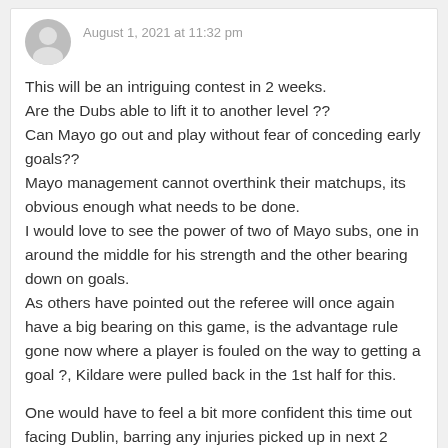August 1, 2021 at 11:32 pm
This will be an intriguing contest in 2 weeks.
Are the Dubs able to lift it to another level ??
Can Mayo go out and play without fear of conceding early goals??
Mayo management cannot overthink their matchups, its obvious enough what needs to be done.
I would love to see the power of two of Mayo subs, one in around the middle for his strength and the other bearing down on goals.
As others have pointed out the referee will once again have a big bearing on this game, is the advantage rule gone now where a player is fouled on the way to getting a goal ?, Kildare were pulled back in the 1st half for this.

One would have to feel a bit more confident this time out facing Dublin, barring any injuries picked up in next 2 weeks.
Liberal role in the tie says: